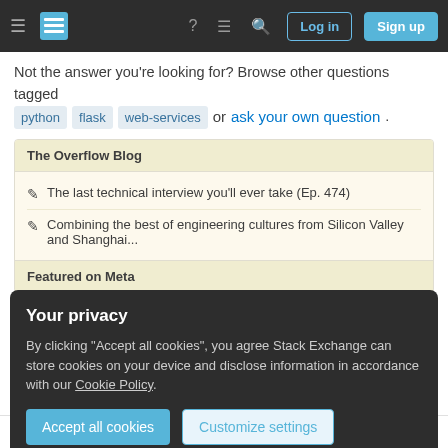Stack Overflow navigation bar with Log in and Sign up buttons
Not the answer you're looking for? Browse other questions tagged python flask web-services or ask your own question.
The Overflow Blog
The last technical interview you'll ever take (Ep. 474)
Combining the best of engineering cultures from Silicon Valley and Shanghai...
Featured on Meta
Your privacy
By clicking "Accept all cookies", you agree Stack Exchange can store cookies on your device and disclose information in accordance with our Cookie Policy.
4  Website menu with Flask